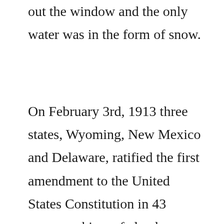out the window and the only water was in the form of snow.
On February 3rd, 1913 three states, Wyoming, New Mexico and Delaware, ratified the first amendment to the United States Constitution in 43 years, making a federal income tax the law of the land. The Amendment was part of a wave of federal and state governmental changes championed by early twentieth century Progressives.